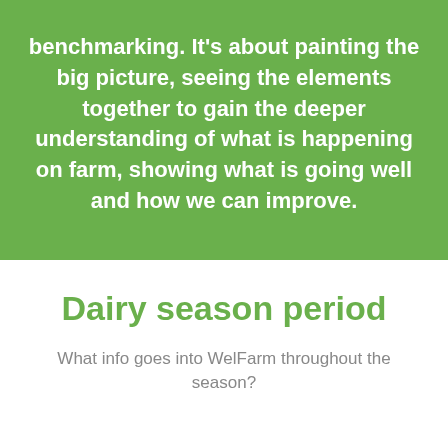benchmarking. It's about painting the big picture, seeing the elements together to gain the deeper understanding of what is happening on farm, showing what is going well and how we can improve.
Dairy season period
What info goes into WelFarm throughout the season?